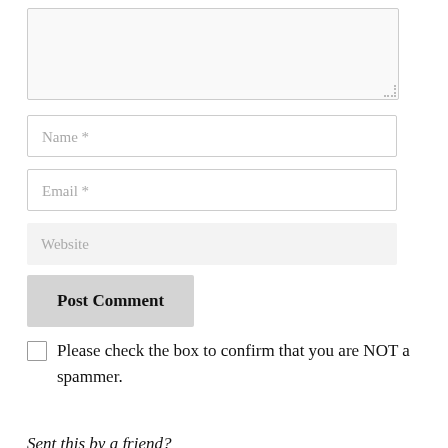[Figure (screenshot): A textarea input box with a resize handle in the bottom-right corner, representing a comment text entry field]
Name *
Email *
Website
Post Comment
Please check the box to confirm that you are NOT a spammer.
Sent this by a friend?